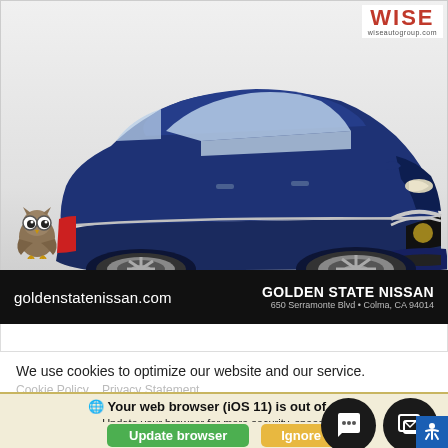[Figure (photo): A blue Nissan Altima sedan photographed from a 3/4 front angle on a white/grey background, with a Wise Auto Group logo in the top right corner and an owl mascot in the bottom left of the image area.]
goldenstatenissan.com
GOLDEN STATE NISSAN
650 Serramonte Blvd • Colma, CA 94014
We use cookies to optimize our website and our service.
Cookie Policy   Privacy Statement
🌐 Your web browser (iOS 11) is out of date. Update your browser for more security, speed and the best experience on this...
Update browser
Ignore